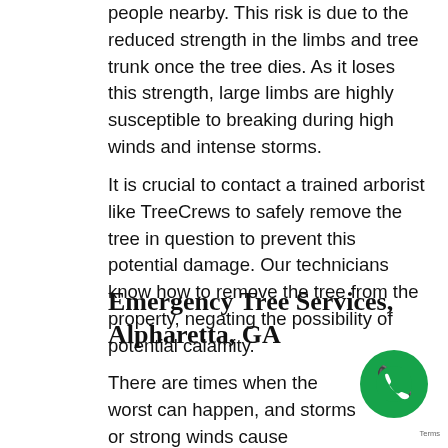people nearby. This risk is due to the reduced strength in the limbs and tree trunk once the tree dies. As it loses this strength, large limbs are highly susceptible to breaking during high winds and intense storms.
It is crucial to contact a trained arborist like TreeCrews to safely remove the tree in question to prevent this potential damage. Our technicians know how to remove the tree from the property, negating the possibility of potential calamity.
Emergency Tree Services, Alpharetta, GA
There are times when the worst can happen, and storms or strong winds cause significant damage to a tree on your property. Even wors that tree may have fallen on your home, car,